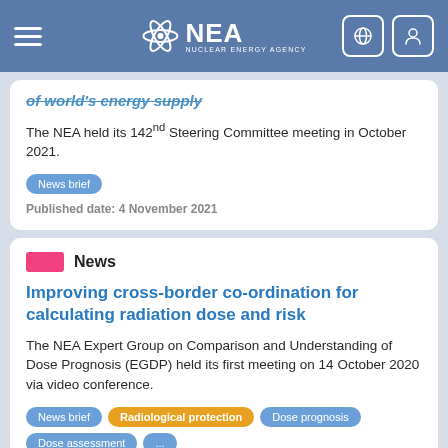NEA – Nuclear Energy Agency
of world's energy supply
The NEA held its 142nd Steering Committee meeting in October 2021.
News brief
Published date: 4 November 2021
News
Improving cross-border co-ordination for calculating radiation dose and risk
The NEA Expert Group on Comparison and Understanding of Dose Prognosis (EGDP) held its first meeting on 14 October 2020 via video conference.
News brief   Radiological protection   Dose prognosis   Dose assessment   ...